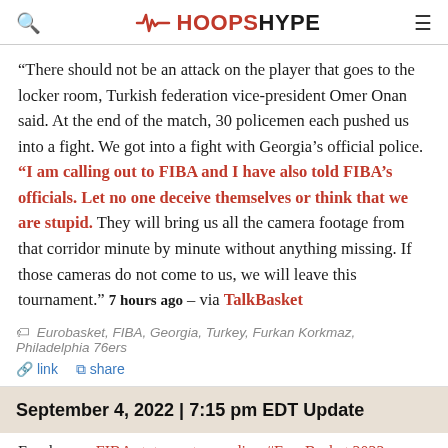HOOPSHYPE
“There should not be an attack on the player that goes to the locker room, Turkish federation vice-president Omer Onan said. At the end of the match, 30 policemen each pushed us into a fight. We got into a fight with Georgia’s official police. “I am calling out to FIBA and I have also told FIBA’s officials. Let no one deceive themselves or think that we are stupid. They will bring us all the camera footage from that corridor minute by minute without anything missing. If those cameras do not come to us, we will leave this tournament.” 7 hours ago – via TalkBasket
Eurobasket, FIBA, Georgia, Turkey, Furkan Korkmaz, Philadelphia 76ers
link   share
September 4, 2022 | 7:15 pm EDT Update
Eurohoops: FIBA statement regarding #EuroBasket 2022